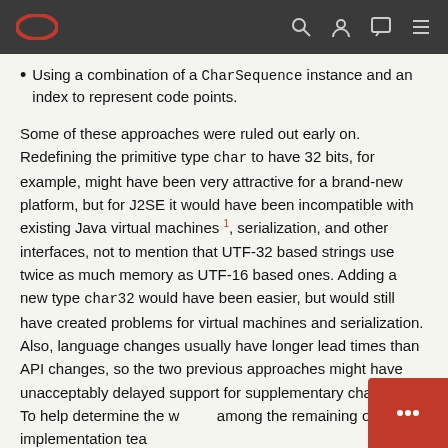Oracle navigation bar with logo and icons
Using a combination of a CharSequence instance and an index to represent code points.
Some of these approaches were ruled out early on. Redefining the primitive type char to have 32 bits, for example, might have been very attractive for a brand-new platform, but for J2SE it would have been incompatible with existing Java virtual machines 1, serialization, and other interfaces, not to mention that UTF-32 based strings use twice as much memory as UTF-16 based ones. Adding a new type char32 would have been easier, but would still have created problems for virtual machines and serialization. Also, language changes usually have longer lead times than API changes, so the two previous approaches might have unacceptably delayed support for supplementary characters. To help determine the winner among the remaining ones, the implementation tea